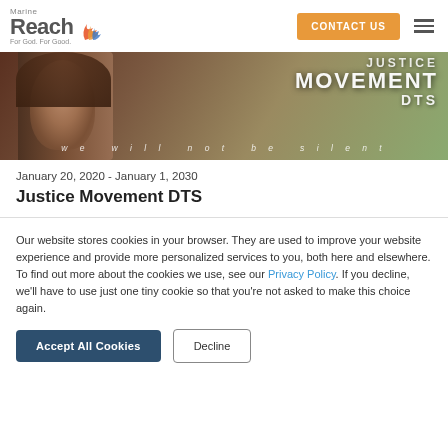Marine Reach — For God. For Good. | CONTACT US
[Figure (photo): Hero banner image showing a person in a hood with overlay text reading JUSTICE MOVEMENT DTS and 'we will not be silent']
January 20, 2020 - January 1, 2030
Justice Movement DTS
Our website stores cookies in your browser. They are used to improve your website experience and provide more personalized services to you, both here and elsewhere. To find out more about the cookies we use, see our Privacy Policy. If you decline, we'll have to use just one tiny cookie so that you're not asked to make this choice again.
Accept All Cookies | Decline